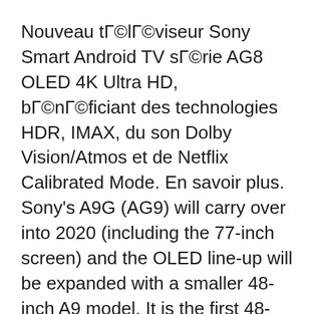Nouveau téléviseur Sony Smart Android TV série AG8 OLED 4K Ultra HD, bénéficiant des technologies HDR, IMAX, du son Dolby Vision/Atmos et de Netflix Calibrated Mode. En savoir plus. Sony's A9G (AG9) will carry over into 2020 (including the 77-inch screen) and the OLED line-up will be expanded with a smaller 48-inch A9 model. It is the first 48-inch OLED TV from Sony or any other brand (LG will also debut 48-inch OLED this year). Sony will also launch new A8 OLED models in 55
First impressions Sony has abandoned the easel-like stand this year and A9G looks more like a conventional OLED TV.